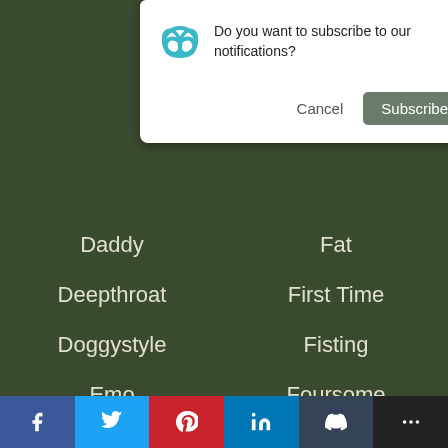[Figure (screenshot): Browser notification subscription dialog with cancel and subscribe buttons]
Daddy
Fat
Deepthroat
First Time
Doggystyle
Fisting
Emo
Foursome
European
French
Gangbang
Homemade
Gay
Interracial
Group Sex
Massage
HD
Masturbating
Handjob
Mature
Facebook Twitter Pinterest LinkedIn Tumblr More